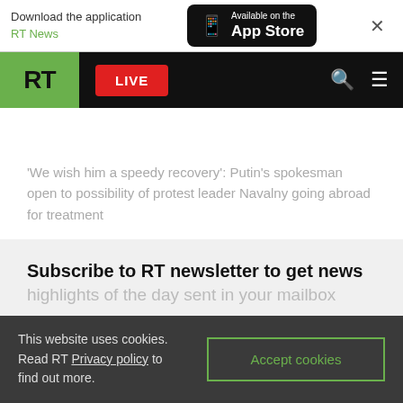Download the application RT News — Available on the App Store
[Figure (screenshot): RT news website navigation bar with green RT logo, red LIVE button, search and menu icons]
'We wish him a speedy recovery': Putin's spokesman open to possibility of protest leader Navalny going abroad for treatment
Subscribe to RT newsletter to get news
highlights of the day sent in your mailbox
This website uses cookies. Read RT Privacy policy to find out more.
Accept cookies